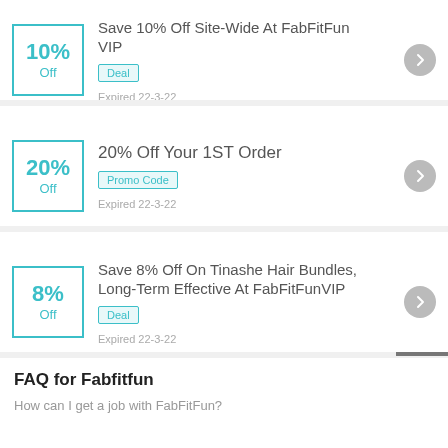10% Off — Save 10% Off Site-Wide At FabFitFun VIP — Deal — Expired 22-3-22
20% Off Your 1ST Order — Promo Code — Expired 22-3-22
8% Off — Save 8% Off On Tinashe Hair Bundles, Long-Term Effective At FabFitFunVIP — Deal — Expired 22-3-22
FAQ for Fabfitfun
How can I get a job with FabFitFun?